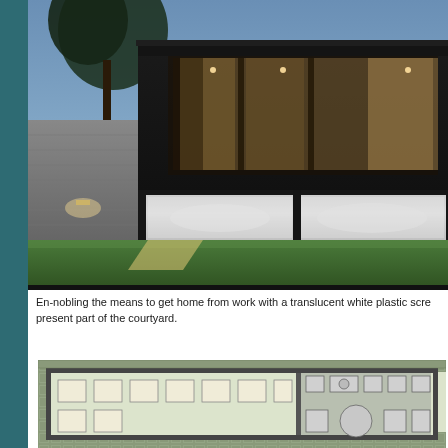[Figure (photo): Exterior night/dusk photograph of a modern house with dark cladding, large glass windows on upper floor showing illuminated interior, translucent white plastic screen panels on lower level, green lawn in foreground, palm tree visible at left]
En-nobling the means to get home from work with a translucent white plastic scre present part of the courtyard.
[Figure (engineering-diagram): Architectural floor plan showing a rectangular building layout with a large open room with square window/module grid on the left side, and a smaller room with bathroom fixtures (sink, toilet, round table) on the right side. Decorative border pattern around the perimeter.]